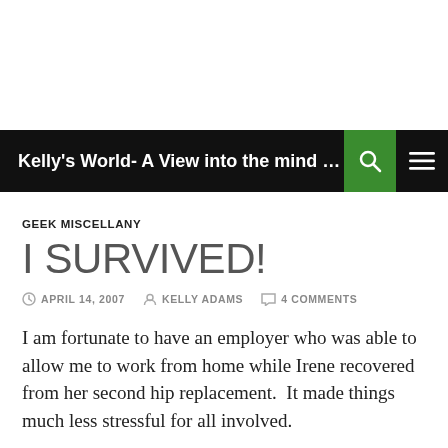Kelly's World- A View into the mind of U...
GEEK MISCELLANY
I SURVIVED!
APRIL 14, 2007   KELLY ADAMS   4 COMMENTS
I am fortunate to have an employer who was able to allow me to work from home while Irene recovered from her second hip replacement.  It made things much less stressful for all involved.